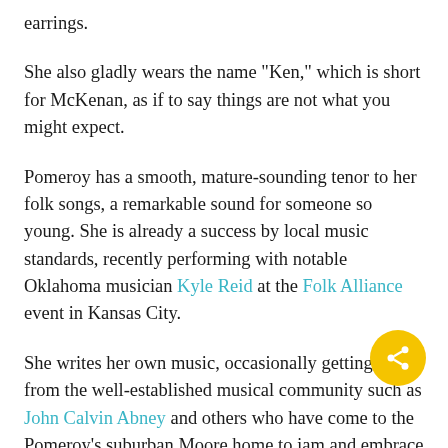earrings.
She also gladly wears the name “Ken,” which is short for McKenan, as if to say things are not what you might expect.
Pomeroy has a smooth, mature-sounding tenor to her folk songs, a remarkable sound for someone so young. She is already a success by local music standards, recently performing with notable Oklahoma musician Kyle Reid at the Folk Alliance event in Kansas City.
She writes her own music, occasionally getting tips from the well-established musical community such as John Calvin Abney and others who have come to the Pomeroy’s suburban Moore home to jam and embrace her as an equal in the music community. Like others, she has learned to write music as a medium for her voice.
“Music has been a way for me to vent. Not someone to vent